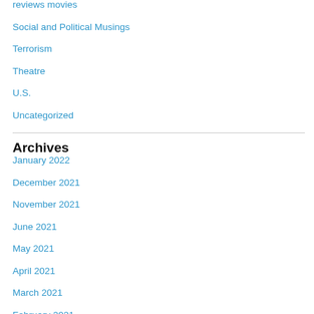reviews movies
Social and Political Musings
Terrorism
Theatre
U.S.
Uncategorized
Archives
January 2022
December 2021
November 2021
June 2021
May 2021
April 2021
March 2021
February 2021
January 2021
December 2020